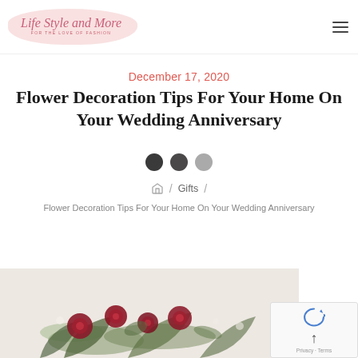[Figure (logo): Life Style and More - For the love of fashion logo with pink cursive text on a soft pink blob background]
December 17, 2020
Flower Decoration Tips For Your Home On Your Wedding Anniversary
[Figure (infographic): Three social share button circles: dark, dark, and gray]
/ Gifts / Flower Decoration Tips For Your Home On Your Wedding Anniversary
[Figure (photo): Partial flower arrangement with red roses and green foliage on a light background]
[Figure (other): reCAPTCHA widget with arrow icon and Privacy - Terms text]